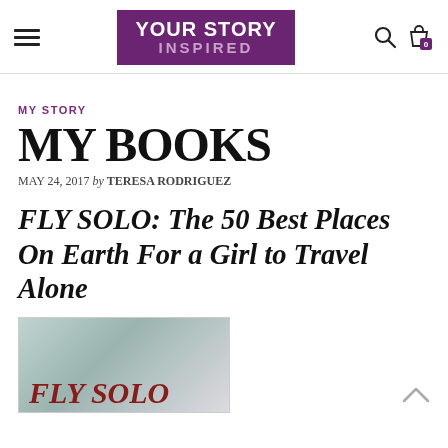YOUR STORY INSPIRED — navigation header with hamburger menu, logo, search and cart icons
MY STORY
MY BOOKS
MAY 24, 2017 by TERESA RODRIGUEZ
FLY SOLO: The 50 Best Places On Earth For a Girl to Travel Alone
[Figure (photo): Book cover of FLY SOLO showing decorative red text on a muted teal/grey background]